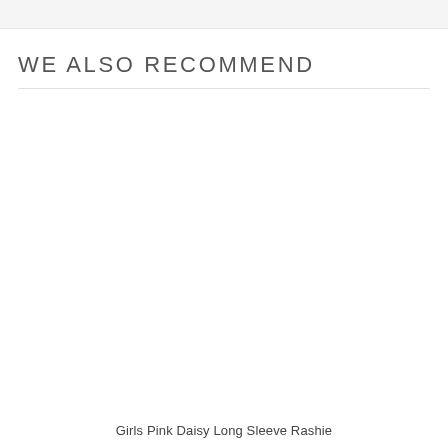WE ALSO RECOMMEND
[Figure (photo): Product image area — blank/white product photo placeholder for Girls Pink Daisy Long Sleeve Rashie]
Girls Pink Daisy Long Sleeve Rashie